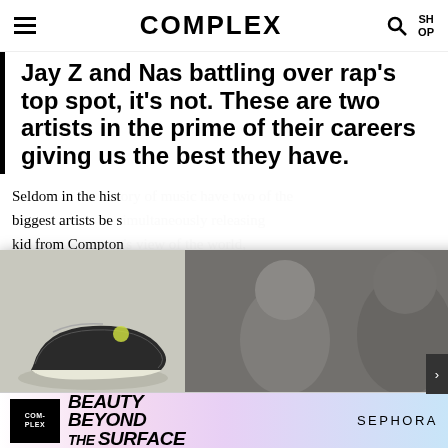COMPLEX
Jay Z and Nas battling over rap's top spot, it's not. These are two artists in the prime of their careers giving us the best they have.
Seldom in the hist... biggest artists be s... kid from Compton... being black in Ame... church-going gang... his friends, and fa... former child actor... and the women in his life. Both do what they do very well.
[Figure (screenshot): Complex Sneakers Podcast overlay card showing a sneaker image and three podcast hosts, with title 'The Best Back to School Sneakers, Then and Now | The Complex Sneakers Podcast']
The Best Back to School Sneakers, Then and Now | The Complex Sneakers Podcast
[Figure (infographic): Sephora advertisement banner: COMPLEX logo, 'BEAUTY BEYOND THE SURFACE' text, SEPHORA text]